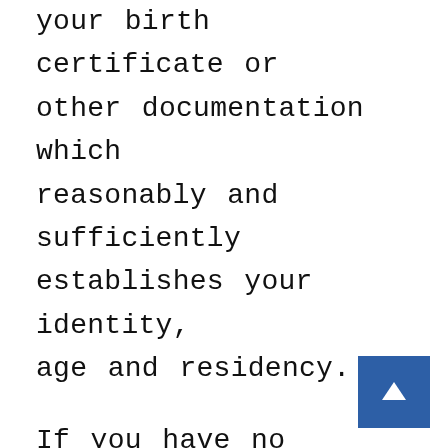your birth certificate or other documentation which reasonably and sufficiently establishes your identity, age and residency.
If you have no picture ID, you may bring a utility bill, payroll check, or government document that includes your name and address.